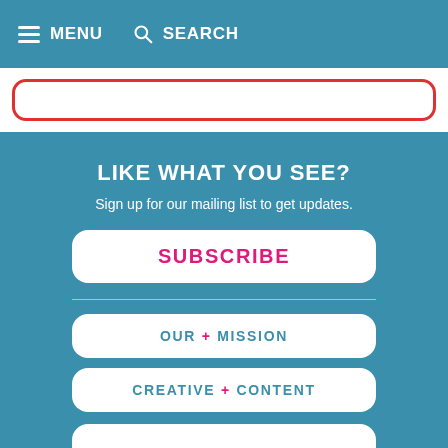MENU   SEARCH
LIKE WHAT YOU SEE?
Sign up for our mailing list to get updates.
SUBSCRIBE
OUR + MISSION
CREATIVE + CONTENT